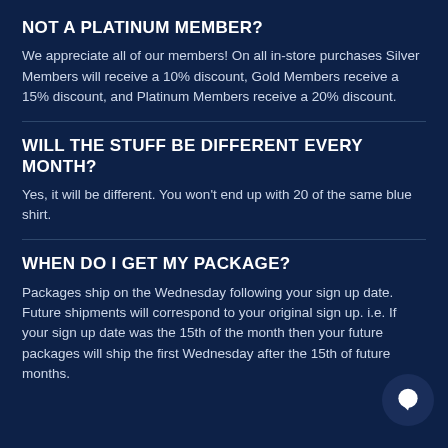NOT A PLATINUM MEMBER?
We appreciate all of our members! On all in-store purchases Silver Members will receive a 10% discount, Gold Members receive a 15% discount, and Platinum Members receive a 20% discount.
WILL THE STUFF BE DIFFERENT EVERY MONTH?
Yes, it will be different. You won't end up with 20 of the same blue shirt.
WHEN DO I GET MY PACKAGE?
Packages ship on the Wednesday following your sign up date. Future shipments will correspond to your original sign up. i.e. If your sign up date was the 15th of the month then your future packages will ship the first Wednesday after the 15th of future months.